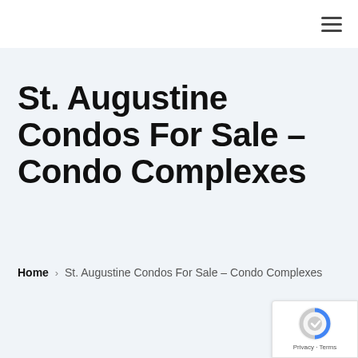≡
St. Augustine Condos For Sale – Condo Complexes
Home › St. Augustine Condos For Sale – Condo Complexes